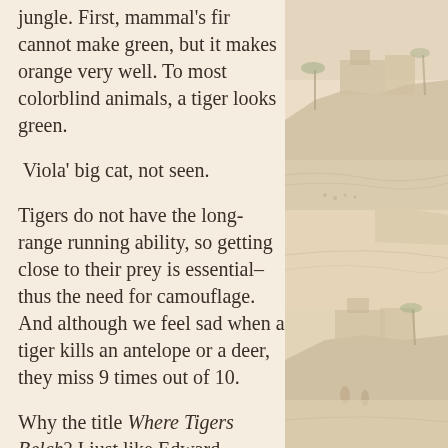jungle. First, mammal's fir cannot make green, but it makes orange very well. To most colorblind animals, a tiger looks green.
Viola' big cat, not seen.
Tigers do not have the long-range running ability, so getting close to their prey is essential–thus the need for camouflage. And although we feel sad when a tiger kills an antelope or a deer, they miss 9 times out of 10.
Why the title Where Tigers Belch? I just like Edward Abbey's poem:
[Figure (illustration): Faded sepia-toned illustration of a coastal scene with buildings on rocky cliffs and sandy beach, repeated vertically in three panels on the right side of the page.]